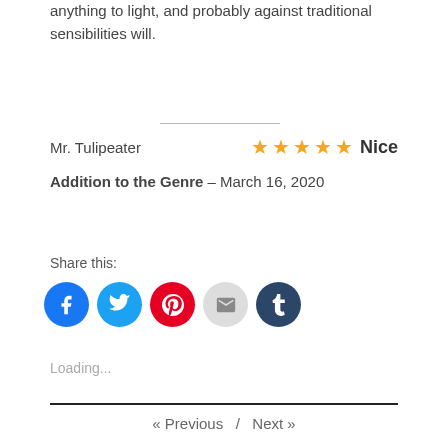anything to light, and probably against traditional sensibilities will.
Mr. Tulipeater   ★★★★★ Nice
Addition to the Genre – March 16, 2020
Share this:
[Figure (infographic): Social share buttons: Facebook (blue circle), Twitter (light blue circle), Pinterest (red circle), Email (grey circle), Tumblr (dark navy circle)]
Loading...
« Previous   /   Next »